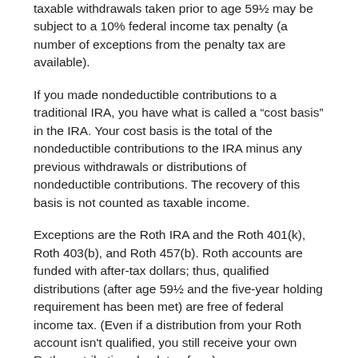taxable withdrawals taken prior to age 59½ may be subject to a 10% federal income tax penalty (a number of exceptions from the penalty tax are available).
If you made nondeductible contributions to a traditional IRA, you have what is called a “cost basis” in the IRA. Your cost basis is the total of the nondeductible contributions to the IRA minus any previous withdrawals or distributions of nondeductible contributions. The recovery of this basis is not counted as taxable income.
Exceptions are the Roth IRA and the Roth 401(k), Roth 403(b), and Roth 457(b). Roth accounts are funded with after-tax dollars; thus, qualified distributions (after age 59½ and the five-year holding requirement has been met) are free of federal income tax. (Even if a distribution from your Roth account isn't qualified, you still receive your own Roth contributions back tax-free.)